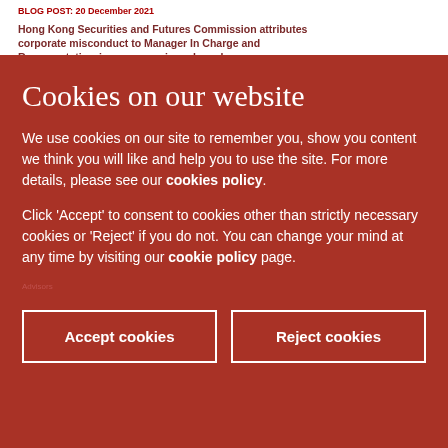BLOG POST: 20 December 2021
Cookies on our website
We use cookies on our site to remember you, show you content we think you will like and help you to use the site. For more details, please see our cookies policy.
Click 'Accept' to consent to cookies other than strictly necessary cookies or 'Reject' if you do not. You can change your mind at any time by visiting our cookie policy page.
Accept cookies
Reject cookies